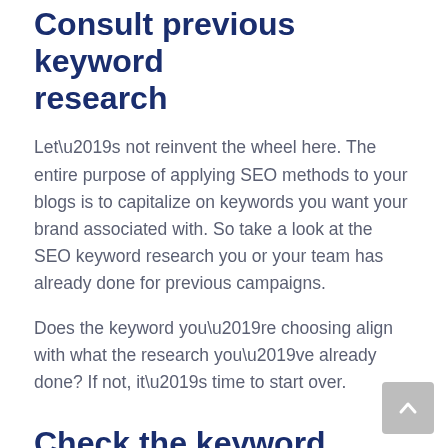Consult previous keyword research
Let’s not reinvent the wheel here. The entire purpose of applying SEO methods to your blogs is to capitalize on keywords you want your brand associated with. So take a look at the SEO keyword research you or your team has already done for previous campaigns.
Does the keyword you’re choosing align with what the research you’ve already done? If not, it’s time to start over.
Check the keyword volume
You can use tools like Moz, Google Keyword Planner, or Keywords Everywhere to check the monthly search volumes of keywords you’d like